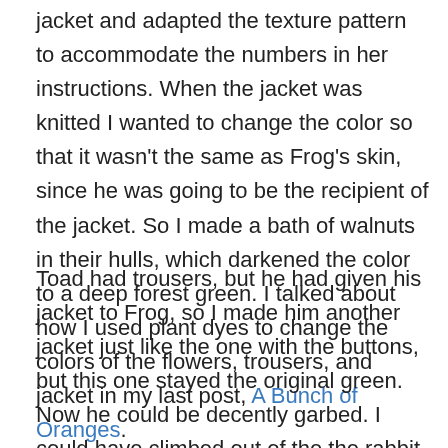jacket and adapted the texture pattern to accommodate the numbers in her instructions. When the jacket was knitted I wanted to change the color so that it wasn't the same as Frog's skin, since he was going to be the recipient of the jacket. So I made a bath of walnuts in their hulls, which darkened the color to a deep forest green. I talked about how I used plant dyes to change the colors of the flowers, trousers, and jacket in my last post, A Bunch of Oranges.
Toad had trousers, but he had given his jacket to Frog, so I made him another jacket just like the one with the buttons, but this one stayed the original green. Now he could be decently garbed. I could have climbed out of the the rabbit hole then, but ever since I tumbled down it, I had felt a compulsion to outfit the two of them for their sledding